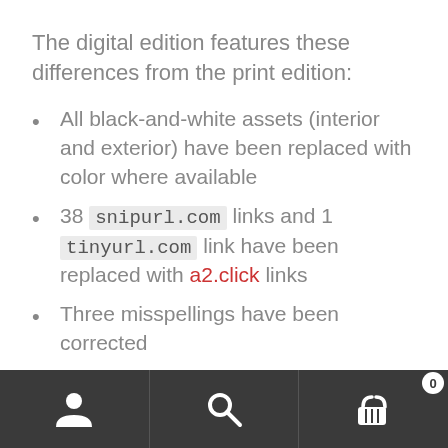The digital edition features these differences from the print edition:
All black-and-white assets (interior and exterior) have been replaced with color where available
38 snipurl.com links and 1 tinyurl.com link have been replaced with a2.click links
Three misspellings have been corrected
Some minor layout changes have occurred when adapting the original files to a new layout program
Navigation bar with user, search, and cart (0) icons